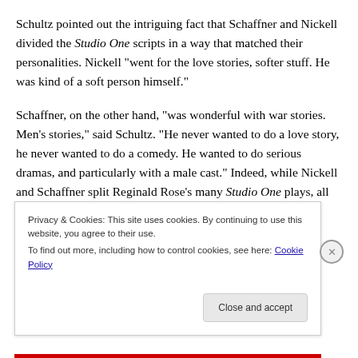Schultz pointed out the intriguing fact that Schaffner and Nickell divided the Studio One scripts in a way that matched their personalities.  Nickell “went for the love stories, softer stuff.  He was kind of a soft person himself.”
Schaffner, on the other hand, “was wonderful with war stories.  Men’s stories,” said Schultz.  “He never wanted to do a love story, he never wanted to do a comedy.  He wanted to do serious dramas, and particularly with a male cast.”  Indeed, while Nickell and Schaffner split Reginald Rose’s many Studio One plays, all of the Rod Serling
Privacy & Cookies: This site uses cookies. By continuing to use this website, you agree to their use.
To find out more, including how to control cookies, see here: Cookie Policy
Close and accept